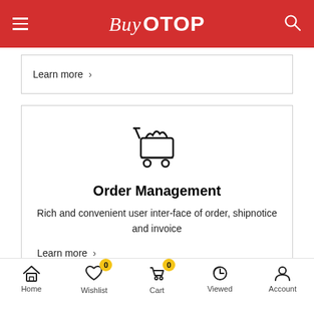Buy OTOP
Learn more >
[Figure (illustration): Shopping cart icon with items inside]
Order Management
Rich and convenient user inter-face of order, shipnotice and invoice
Learn more >
Home  Wishlist  Cart  Viewed  Account